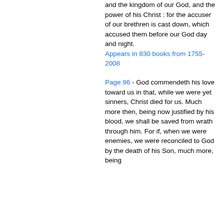and the kingdom of our God, and the power of his Christ : for the accuser of our brethren is cast down, which accused them before our God day and night.
Appears in 830 books from 1755-2008
Page 96 - God commendeth his love toward us in that, while we were yet sinners, Christ died for us. Much more then, being now justified by his blood, we shall be saved from wrath through him. For if, when we were enemies, we were reconciled to God by the death of his Son, much more, being